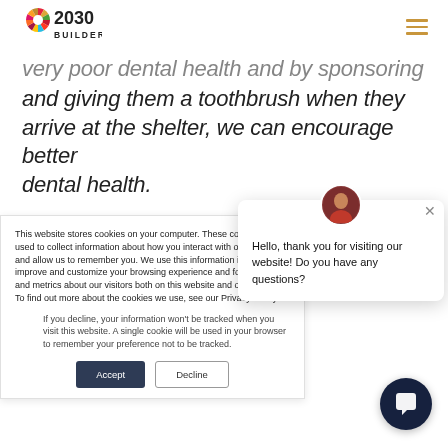[Figure (logo): 2030 Builders logo with colorful circular icon]
very poor dental health and by sponsoring and giving them a toothbrush when they arrive at the shelter, we can encourage better dental health.
Do you have any tips for other companies
This website stores cookies on your computer. These cookies are used to collect information about how you interact with our website and allow us to remember you. We use this information in order to improve and customize your browsing experience and for analytics and metrics about our visitors both on this website and other media. To find out more about the cookies we use, see our Privacy Policy.
If you decline, your information won't be tracked when you visit this website. A single cookie will be used in your browser to remember your preference not to be tracked.
Hello, thank you for visiting our website! Do you have any questions?